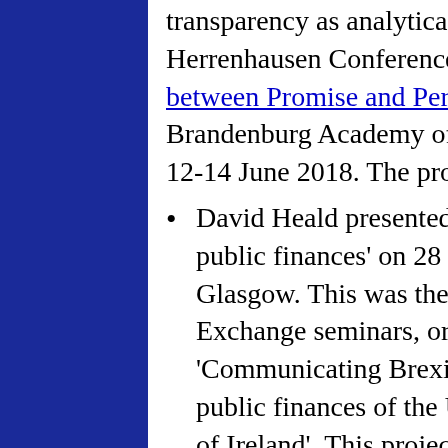transparency as analytical tool at the Volkswagen Foundation's Herrenhausen Conference on 'Transparency and Society - between Promise and Peril'. This event was held at the Berlin-Brandenburg Academy of Sciences and Humanities, in Berlin on 12-14 June 2018. The programme can be found here.
David Heald presented on 'The impact of Brexit on Scotland's public finances' on 28 March 2018 at the University of Glasgow. This was the eighth event in a series of Knowledge Exchange seminars, organised by the project on 'Communicating Brexit's impact on the law, governance and public finances of the UK devolved nations and the Republic of Ireland'. This project is directed by David Heald (Glasgow), Gordon Marnoch (Ulster) and Tom Mullen (Glasgow). The project website, providing PowerPoint slides and videos can be found here. David Heald's presentation can be found here, and a video summary can be found here